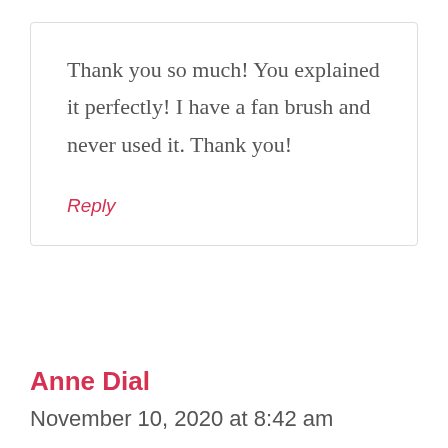Thank you so much! You explained it perfectly! I have a fan brush and never used it. Thank you!
Reply
Anne Dial
November 10, 2020 at 8:42 am